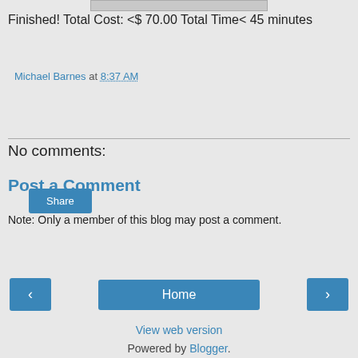[Figure (photo): Partial image strip at top of page]
Finished! Total Cost: <$ 70.00 Total Time< 45 minutes
Michael Barnes at 8:37 AM
Share
No comments:
Post a Comment
Note: Only a member of this blog may post a comment.
‹
Home
›
View web version
Powered by Blogger.